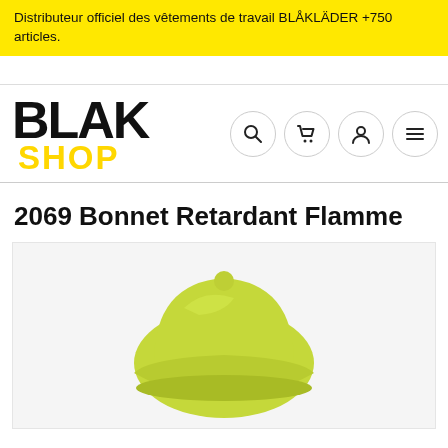Distributeur officiel des vêtements de travail BLÅKLÄDER +750 articles.
[Figure (logo): BLAK SHOP logo — BLAK in bold black with SHOP in yellow below]
2069 Bonnet Retardant Flamme
[Figure (photo): Yellow-green flame-retardant beanie hat product photo, bottom portion visible]